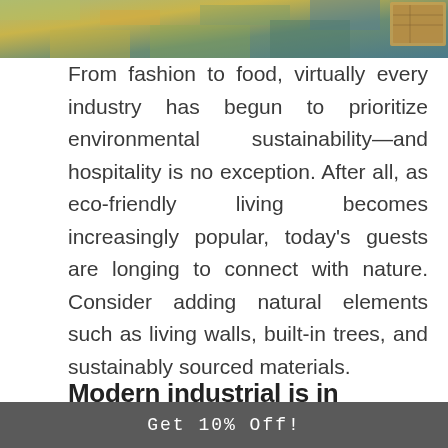[Figure (photo): Decorative top image showing a textured surface with yellow, green, and blue tones, partially visible at top of page, with a small inset image in the top right corner]
From fashion to food, virtually every industry has begun to prioritize environmental sustainability—and hospitality is no exception. After all, as eco-friendly living becomes increasingly popular, today's guests are longing to connect with nature. Consider adding natural elements such as living walls, built-in trees, and sustainably sourced materials.
Modern industrial is in
Get 10% Off!